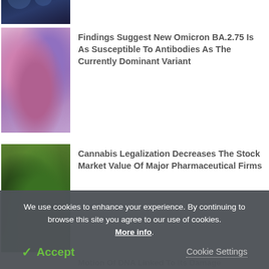[Figure (photo): Partial top view of scientific/medical image with dark blue background, clipped]
[Figure (photo): Pink and purple molecular/antibody structure against colorful bokeh background]
Findings Suggest New Omicron BA.2.75 Is As Susceptible To Antibodies As The Currently Dominant Variant
[Figure (photo): Close-up of cannabis plant with green leaves and white flower buds]
Cannabis Legalization Decreases The Stock Market Value Of Major Pharmaceutical Firms
Motion Of DNA Linked To Its Damage
We use cookies to enhance your experience. By continuing to browse this site you agree to our use of cookies. More info.